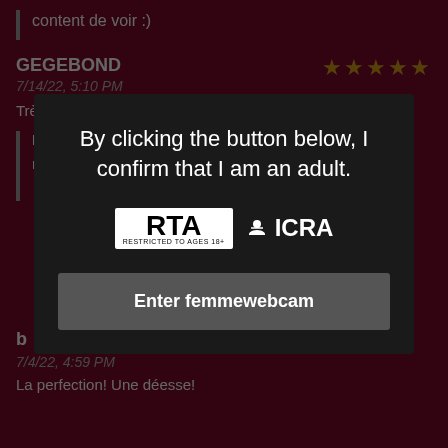content de voir :)
GEGEBOND
7/14/22, 5:10 PM
Très jolie seins Une fille remarquable.
BellaJulls  7/15/22, 9:33 AM
merci :) très sympa
7/4/22, 4:59 PM
La perfection! Une déesse!
By clicking the button below, I confirm that I am an adult.
Enter femmewebcam